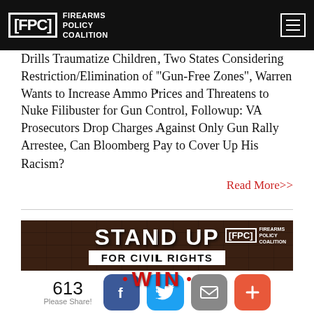FPC — FIREARMS POLICY COALITION
Drills Traumatize Children, Two States Considering Restriction/Elimination of "Gun-Free Zones", Warren Wants to Increase Ammo Prices and Threatens to Nuke Filibuster for Gun Control, Followup: VA Prosecutors Drop Charges Against Only Gun Rally Arrestee, Can Bloomberg Pay to Cover Up His Racism?
Read More>>
[Figure (photo): STAND UP FOR CIVIL RIGHTS WIN — Firearms Policy Coalition promotional banner with brick background]
613 Please Share!